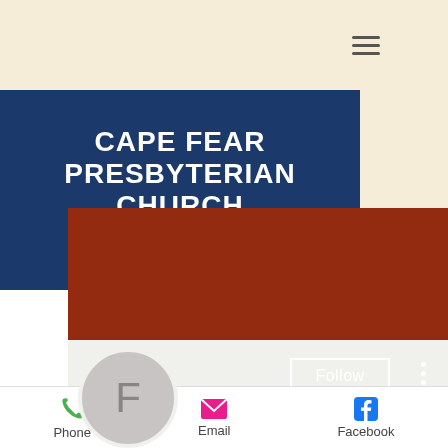[Figure (screenshot): Mobile app screenshot showing Cape Fear Presbyterian Church webpage with navigation hamburger menu, dark navy blue church name banner, and a social profile card for 'Fruit zen bitstarz' with Follow button, avatar circle with letter F, and bottom toolbar with Phone, Email, Facebook actions.]
CAPE FEAR PRESBYTERIAN CHURCH Wilmington, NC
Fruit zen bitstarz
0 Followers   0 Following
Phone
Email
Facebook